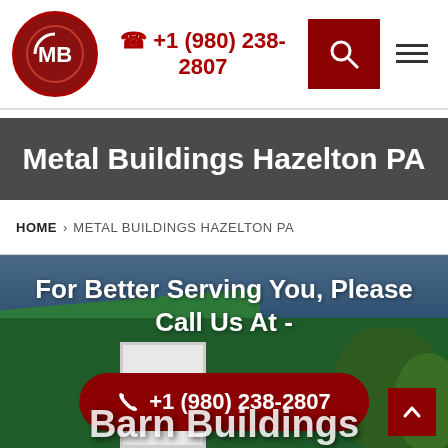[Figure (logo): CMB logo - circular red emblem with MB letters]
+1 (980) 238-2807
Metal Buildings Hazelton PA
HOME > METAL BUILDINGS HAZELTON PA
For Better Serving You, Please Call Us At -
+1 (980) 238-2807
[Figure (photo): Green metal barn building with white door, blue sky, trees in background]
Barn Buildings